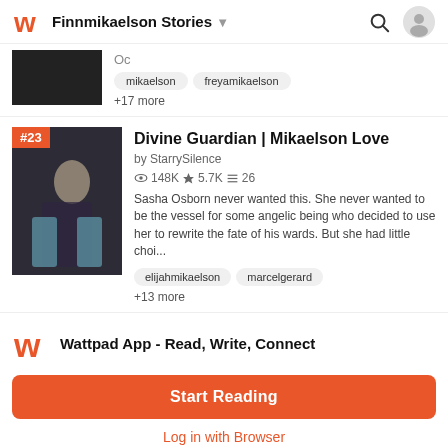Finnmikaelson Stories
Oc
mikaelson  freyamikaelson
+17 more
Divine Guardian | Mikaelson Love
by StarrySilence
148K  5.7Ki  26
Sasha Osborn never wanted this. She never wanted to be the vessel for some angelic being who decided to use her to rewrite the fate of his wards. But she had little choi...
elijahmikaelson  marcelgerard
+13 more
Wattpad App - Read, Write, Connect
Start Reading
Log in with Browser